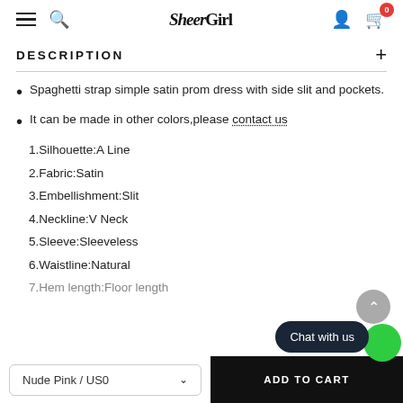SheerGirl — navigation header with hamburger, search, logo, user and cart icons
DESCRIPTION
Spaghetti strap simple satin prom dress with side slit and pockets.
It can be made in other colors,please contact us
1.Silhouette:A Line
2.Fabric:Satin
3.Embellishment:Slit
4.Neckline:V Neck
5.Sleeve:Sleeveless
6.Waistline:Natural
7.Hem length:Floor length